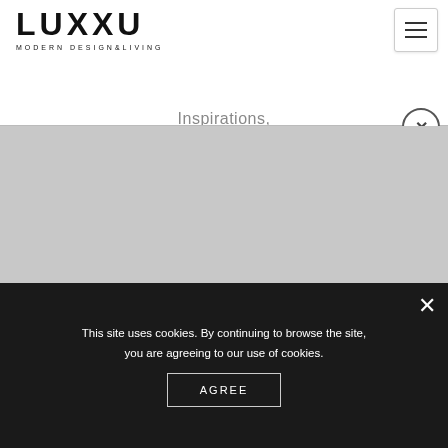[Figure (logo): LUXXU Modern Design & Living logo — bold black letters with crossed XX motif and subtitle text]
[Figure (other): Hamburger menu button (three horizontal lines) with border, top right corner]
Inspirations,
[Figure (other): Circle close button with X, positioned to the right of Inspirations text]
[Figure (photo): Large gray placeholder image area below the Inspirations heading]
This site uses cookies. By continuing to browse the site, you are agreeing to our use of cookies.
AGREE